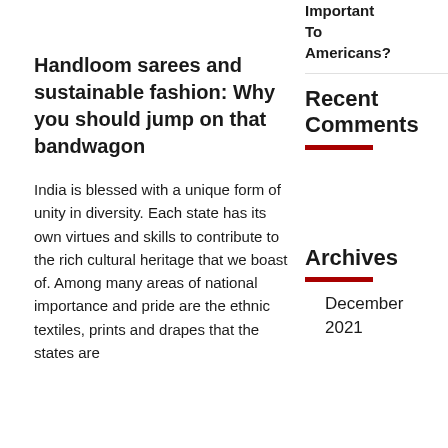Important To Americans?
Handloom sarees and sustainable fashion: Why you should jump on that bandwagon
India is blessed with a unique form of unity in diversity. Each state has its own virtues and skills to contribute to the rich cultural heritage that we boast of. Among many areas of national importance and pride are the ethnic textiles, prints and drapes that the states are
Recent Comments
Archives
December 2021